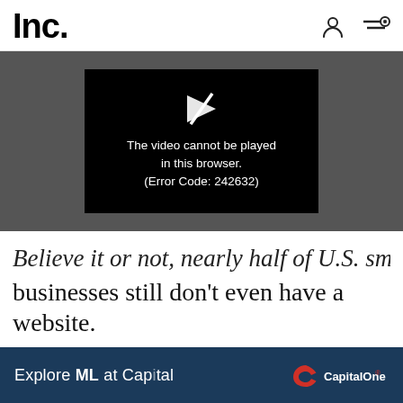Inc.
[Figure (screenshot): Video player error box on dark gray background showing a play icon with an X through it and the message: The video cannot be played in this browser. (Error Code: 242632)]
Believe it or not, nearly half of U.S. small businesses still don't even have a website. Many of the remainder don't review or respond
[Figure (other): Capital One advertisement banner: 'Explore ML at Capital One' with CapitalOne logo on dark navy background]